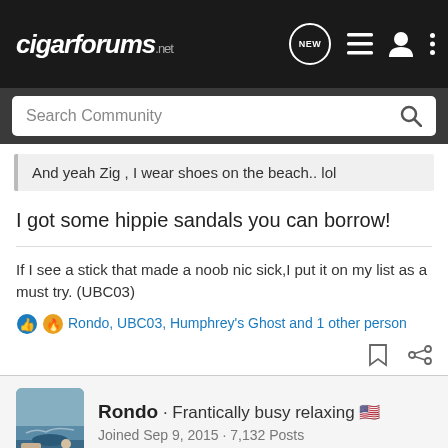cigarforums.net
Search Community
And yeah Zig , I wear shoes on the beach.. lol
I got some hippie sandals you can borrow!
If I see a stick that made a noob nic sick,I put it on my list as a must try. (UBC03)
Rondo, UBC03, Humphrey's Ghost and 1 other person
Rondo · Frantically busy relaxing 🇺🇸
Joined Sep 9, 2015 · 7,132 Posts
#22,362 · May 20, 2022